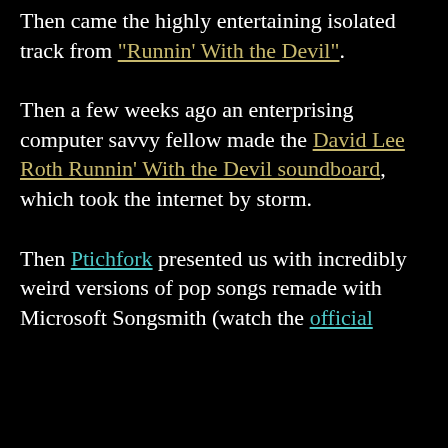Then came the highly entertaining isolated track from "Runnin' With the Devil". Then a few weeks ago an enterprising computer savvy fellow made the David Lee Roth Runnin' With the Devil soundboard, which took the internet by storm. Then Ptichfork presented us with incredibly weird versions of pop songs remade with Microsoft Songsmith (watch the official
"Runnin' With the Devil" (link)
David Lee Roth Runnin' With the Devil soundboard (link)
Ptichfork (link)
official (link)